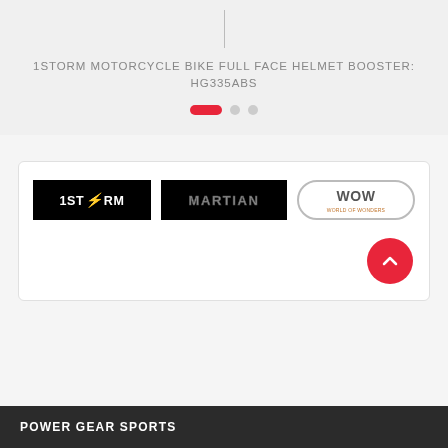1STORM MOTORCYCLE BIKE FULL FACE HELMET BOOSTER: HG335ABS
[Figure (logo): 1Storm brand logo - black background with white text and red lightning bolt]
[Figure (logo): Martian brand logo - black background with dark grey outlined text]
[Figure (logo): WOW (World of Wonders) brand logo - oval border with bold text]
POWER GEAR SPORTS